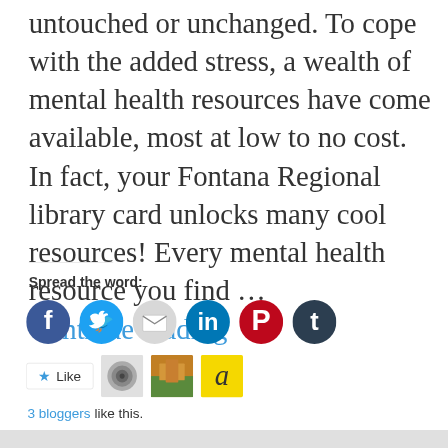untouched or unchanged. To cope with the added stress, a wealth of mental health resources have come available, most at low to no cost. In fact, your Fontana Regional library card unlocks many cool resources! Every mental health resource you find … Continue reading
Spread the word:
[Figure (other): Social sharing icons: Facebook (blue circle), Twitter (light blue circle), Email (grey circle), LinkedIn (dark blue circle), Pinterest (red circle), Tumblr (dark navy circle)]
[Figure (other): Like button with star icon and three blogger avatar thumbnails]
3 bloggers like this.